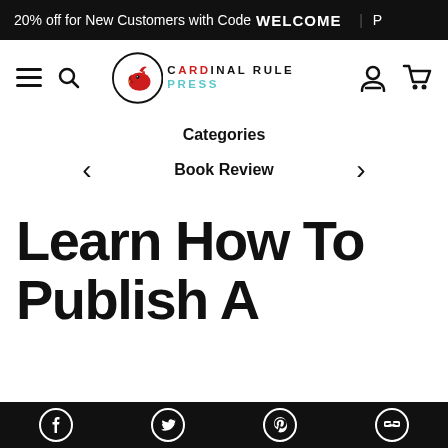20% off for New Customers with Code WELCOME
[Figure (logo): Cardinal Rule Press logo with cardinal bird icon in circle and text CARDINAL RULE PRESS]
Categories
< Book Review >
Learn How To Publish A
Social share icons: Facebook, Twitter, Pinterest, Link